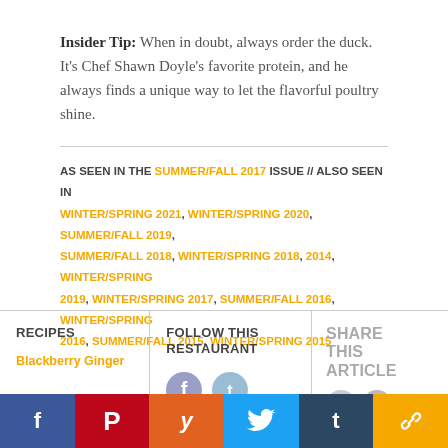Insider Tip: When in doubt, always order the duck. It's Chef Shawn Doyle's favorite protein, and he always finds a unique way to let the flavorful poultry shine.
AS SEEN IN THE SUMMER/FALL 2017 ISSUE // ALSO SEEN IN WINTER/SPRING 2021, WINTER/SPRING 2020, SUMMER/FALL 2019, SUMMER/FALL 2018, WINTER/SPRING 2018, 2014, WINTER/SPRING 2019, WINTER/SPRING 2017, SUMMER/FALL 2016, WINTER/SPRING 2016, SUMMER/FALL 2015, WINTER/SPRING 2015
RECIPES
Blackberry Ginger
FOLLOW THIS RESTAURANT
SHARE THIS ARTICLE
f | P | y | twitter | t | chain icon (social share bar)